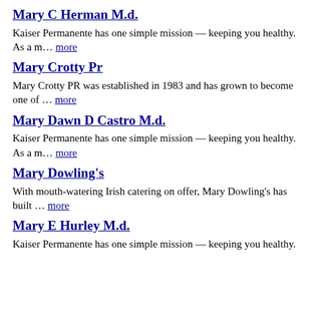Mary C Herman M.d.
Kaiser Permanente has one simple mission — keeping you healthy. As a m… more
Mary Crotty Pr
Mary Crotty PR was established in 1983 and has grown to become one of … more
Mary Dawn D Castro M.d.
Kaiser Permanente has one simple mission — keeping you healthy. As a m… more
Mary Dowling's
With mouth-watering Irish catering on offer, Mary Dowling's has built … more
Mary E Hurley M.d.
Kaiser Permanente has one simple mission — keeping you healthy.